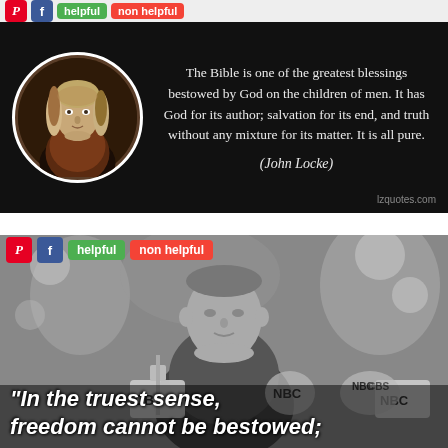[Figure (illustration): Quote card with dark background. Left side shows a circular portrait of John Locke (painted style, historical figure wearing dark robes). Right side shows quote text: 'The Bible is one of the greatest blessings bestowed by God on the children of men. It has God for its author; salvation for its end, and truth without any mixture for its matter. It is all pure.' Attribution: (John Locke). Watermark: lzquotes.com]
[Figure (photo): Black and white photograph of Franklin D. Roosevelt speaking at microphones labeled CBS and NBC. Bottom text overlay reads: 'In the truest sense, freedom cannot be bestowed;']